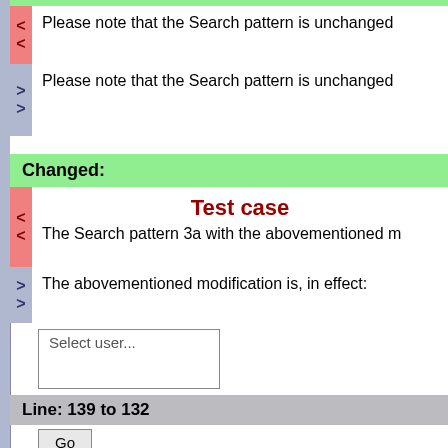Please note that the Search pattern is unchanged
Please note that the Search pattern is unchanged
Changed:
Test case
The Search pattern 3a with the abovementioned m
The abovementioned modification is, in effect:
Select user...
Line: 139 to 132
Go
Added: